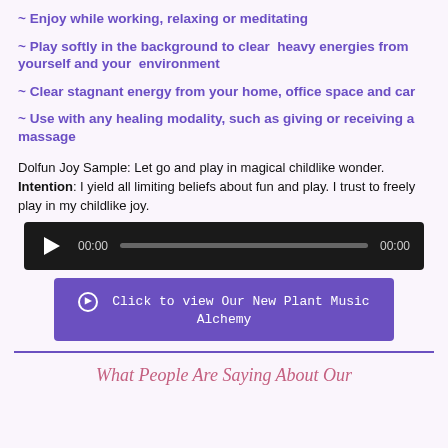~ Enjoy while working, relaxing or meditating
~ Play softly in the background to clear heavy energies from yourself and your environment
~ Clear stagnant energy from your home, office space and car
~ Use with any healing modality, such as giving or receiving a massage
Dolfun Joy Sample: Let go and play in magical childlike wonder. Intention: I yield all limiting beliefs about fun and play. I trust to freely play in my childlike joy.
[Figure (screenshot): Audio player with play button, 00:00 timestamp, progress bar, and 00:00 end time on dark background]
Click to view Our New Plant Music Alchemy
What People Are Saying About Our